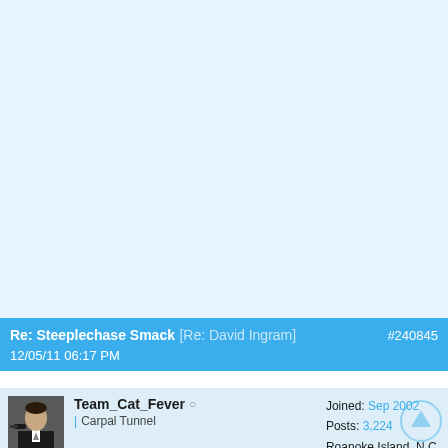[Figure (screenshot): Large empty light blue area representing forum page content area above the post]
Re: Steeplechase Smack [Re: David Ingram] #240845
12/05/11 06:17 PM
[Figure (photo): Small avatar photo of a man in a suit holding a gun, black and white style]
Team_Cat_Fever ☺
Carpal Tunnel
Joined: Sep 2002
Posts: 3,224
Roanoke Island ,N.C.